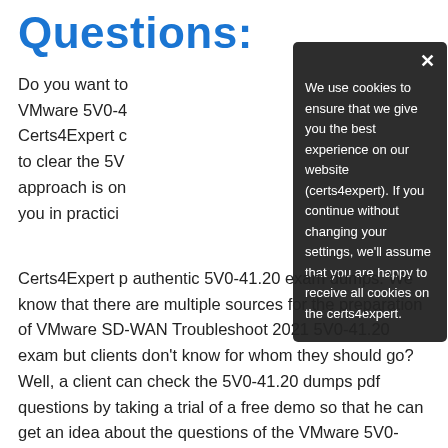Questions:
Do you want to VMware 5V0-4 Certs4Expert c to clear the 5V approach is on you in practici
[Figure (screenshot): Cookie consent modal overlay with dark background. Contains close button (x) in top right. Text reads: 'We use cookies to ensure that we give you the best experience on our website (certs4expert). If you continue without changing your settings, we'll assume that you are happy to receive all cookies on the certs4expert.']
Certs4Expert p authentic 5V0-41.20 exam dumps. We know that there are multiple sources for the preparation of VMware SD-WAN Troubleshoot 2021 5V0-41.20 exam but clients don't know for whom they should go? Well, a client can check the 5V0-41.20 dumps pdf questions by taking a trial of a free demo so that he can get an idea about the questions of the VMware 5V0-41.20 exam.